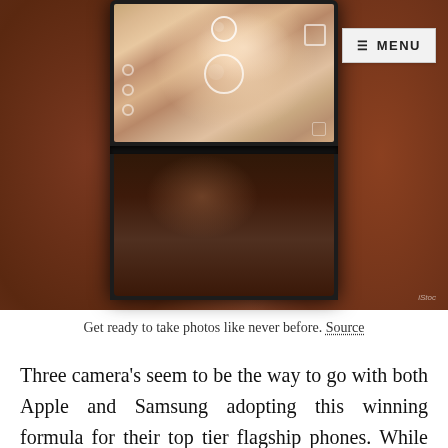[Figure (photo): A person laughing/smiling captured on what appears to be a Samsung foldable phone screen, showing the phone's front camera UI. The image has a warm brown bokeh background. A MENU button appears in the top-right corner overlay.]
Get ready to take photos like never before. Source
Three camera's seem to be the way to go with both Apple and Samsung adopting this winning formula for their top tier flagship phones. While the Z Fold2